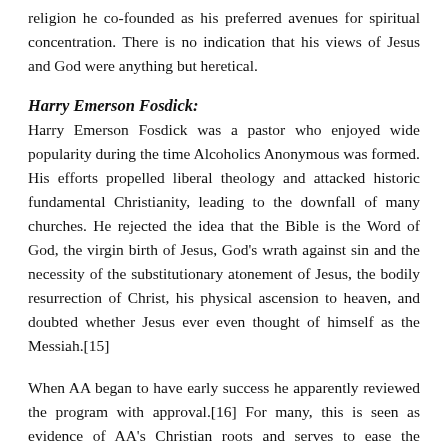religion he co-founded as his preferred avenues for spiritual concentration. There is no indication that his views of Jesus and God were anything but heretical.
Harry Emerson Fosdick:
Harry Emerson Fosdick was a pastor who enjoyed wide popularity during the time Alcoholics Anonymous was formed. His efforts propelled liberal theology and attacked historic fundamental Christianity, leading to the downfall of many churches. He rejected the idea that the Bible is the Word of God, the virgin birth of Jesus, God's wrath against sin and the necessity of the substitutionary atonement of Jesus, the bodily resurrection of Christ, his physical ascension to heaven, and doubted whether Jesus ever even thought of himself as the Messiah.[15]
When AA began to have early success he apparently reviewed the program with approval.[16] For many, this is seen as evidence of AA's Christian roots and serves to ease the conscience of any who may suspect that AA isn't Christian. What many do not realize is that Fosdick was not a Christian, but a false teacher. One only has to ask the